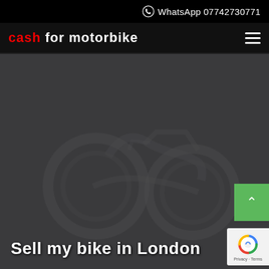WhatsApp 07742730771
Cash for motorbike
[Figure (screenshot): Dark hero background with faint motorbike silhouette watermark on dark gray background]
Sell my bike in London